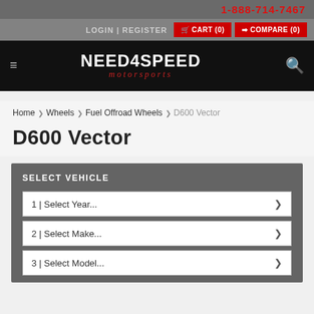1-888-714-7467
LOGIN | REGISTER  CART (0)  COMPARE (0)
[Figure (logo): NEED4SPEED motorsports logo on black background with hamburger menu and search icon]
Home > Wheels > Fuel Offroad Wheels > D600 Vector
D600 Vector
SELECT VEHICLE
1 | Select Year...
2 | Select Make...
3 | Select Model...